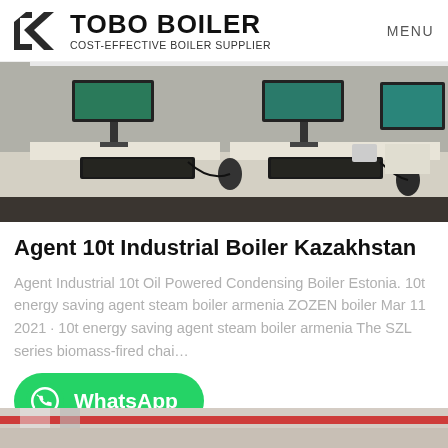TOBO BOILER COST-EFFECTIVE BOILER SUPPLIER | MENU
[Figure (photo): Office desks with computer monitors, keyboards and mice on white tables in a room with dark floor]
Agent 10t Industrial Boiler Kazakhstan
Agent Industrial 10t Oil Powered Condensing Boiler Estonia. 10t energy saving agent steam boiler armenia ZOZEN boiler Mar 11 2021 · 10t energy saving agent steam boiler armenia The SZL series biomass-fired chai…
[Figure (logo): WhatsApp button - green rounded rectangle with WhatsApp icon and text 'WhatsApp']
[Figure (photo): Partial view of industrial boiler or equipment at bottom of page]